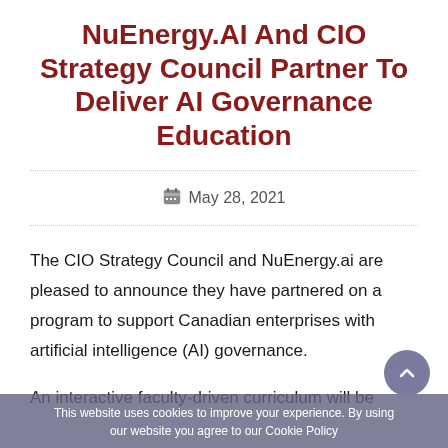NuEnergy.AI And CIO Strategy Council Partner To Deliver AI Governance Education
May 28, 2021
The CIO Strategy Council and NuEnergy.ai are pleased to announce they have partnered on a program to support Canadian enterprises with artificial intelligence (AI) governance.
An interactive faculty-driven curriculum will be
This website uses cookies to improve your experience. By using our website you agree to our Cookie Policy